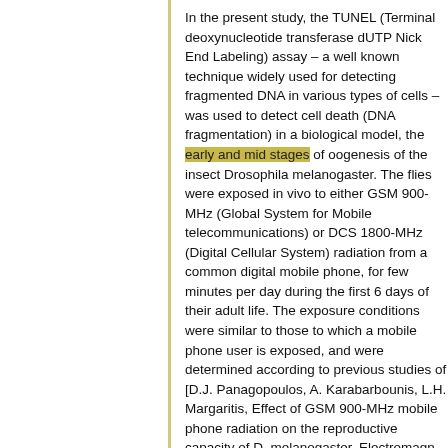In the present study, the TUNEL (Terminal deoxynucleotide transferase dUTP Nick End Labeling) assay – a well known technique widely used for detecting fragmented DNA in various types of cells – was used to detect cell death (DNA fragmentation) in a biological model, the early and mid stages of oogenesis of the insect Drosophila melanogaster. The flies were exposed in vivo to either GSM 900-MHz (Global System for Mobile telecommunications) or DCS 1800-MHz (Digital Cellular System) radiation from a common digital mobile phone, for few minutes per day during the first 6 days of their adult life. The exposure conditions were similar to those to which a mobile phone user is exposed, and were determined according to previous studies of [D.J. Panagopoulos, A. Karabarbounis, L.H. Margaritis, Effect of GSM 900-MHz mobile phone radiation on the reproductive capacity of D. melanogaster, Electromagn. Biol. Med. 23 (1) (2004) 29–43; D.J. Panagopoulos, N. Messini, A. Karabarbounis, A.L. Philippetis, L.H. Margaritis, Radio frequency electromagnetic radiation within "safe levels" alters the physiological function of insects, in: P. Kostarakis, P. Stavroulakis (Eds.), Proceedings of the Millennium International Workshop on Biological Effects of Electromagnetic Fields, Heraklion, Crete, Greece, October 17–20, 2000, pp. 169–175, ISBN: 960-8475-0-5; D.J. Panagopoulos, L.H. Margaritis, Effects of electromagnetic fields on the reproductive capacity of D. melanogaster, in: P. Stavroulakis (Ed.), Biological Effects of Electromagnetic Fields, Springer, 2003, pp. 545–578], which had shown a large decrease in the oviposition of the same insect caused by GSM radiation. Our present results suggest that the decrease in oviposition previously reported, is due to degeneration of large numbers of egg chambers after DNA fragmentation of their constituent cells, induced by both types of mobile telephony radiation. Induced cell death is record